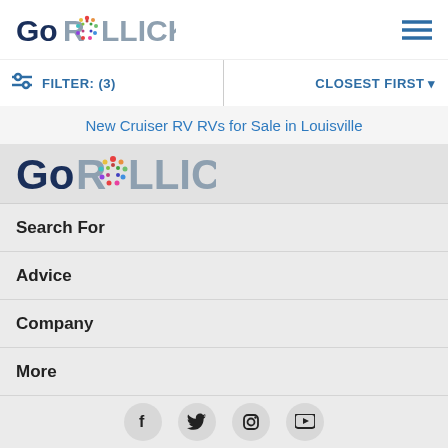GoROLLICK
FILTER: (3)   CLOSEST FIRST
New Cruiser RV RVs for Sale in Louisville
[Figure (logo): GoROLLICK logo with colorful dot pattern in the O]
Search For
Advice
Company
More
[Figure (infographic): Social media icons row: Facebook, Twitter, Instagram, YouTube]